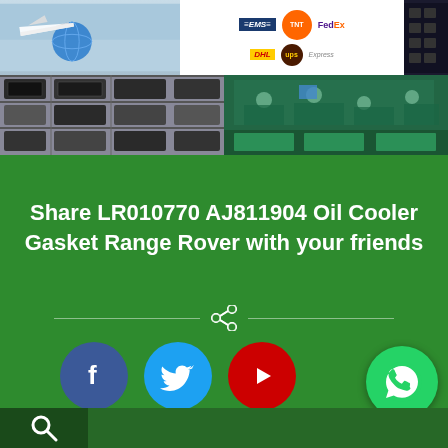[Figure (photo): Top banner with airplane/globe shipping photo on left, EMS/TNT/FedEx/DHL/UPS logistics logos on right, and dark auto parts panel far right]
[Figure (photo): Left: warehouse shelves with automotive parts; Right: factory floor with workers and green assembly stations]
Share LR010770 AJ811904 Oil Cooler Gasket Range Rover with your friends
[Figure (infographic): Divider line with share icon in the center]
[Figure (infographic): Social media icons: Facebook (blue circle), Twitter (light blue circle), YouTube (red circle)]
[Figure (infographic): WhatsApp floating button (green circle, bottom right)]
[Figure (infographic): Bottom green bar with search icon on the left]